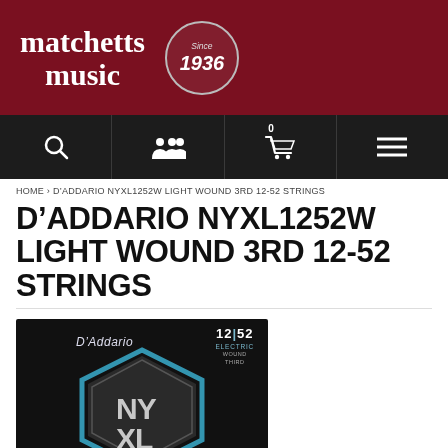matchetts music Since 1936
[Figure (screenshot): Navigation bar with search icon, users icon, cart icon showing 0, and hamburger menu]
HOME › D'ADDARIO NYXL1252W LIGHT WOUND 3RD 12-52 STRINGS
D'ADDARIO NYXL1252W LIGHT WOUND 3RD 12-52 STRINGS
[Figure (photo): D'Addario NYXL1252W guitar string packaging on black background showing 12|52 gauge, ELECTRIC WOUND THIRD label, D'Addario logo, and NYXL hexagonal logo]